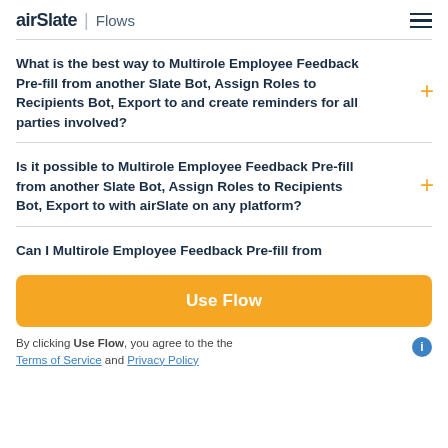airSlate | Flows
What is the best way to Multirole Employee Feedback Pre-fill from another Slate Bot, Assign Roles to Recipients Bot, Export to and create reminders for all parties involved?
Is it possible to Multirole Employee Feedback Pre-fill from another Slate Bot, Assign Roles to Recipients Bot, Export to with airSlate on any platform?
Can I Multirole Employee Feedback Pre-fill from
Use Flow
By clicking Use Flow, you agree to the Terms of Service and Privacy Policy